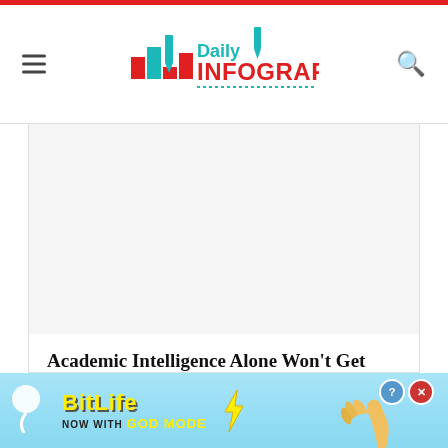Daily Infographic
Academic Intelligence Alone Won't Get You The Grades
added by Alexis
Jul 16,2021
Education
[Figure (illustration): Bottom banner advertisement for BitLife game with 'Now With GOD MODE' text on a light blue background with cartoon hand graphic]